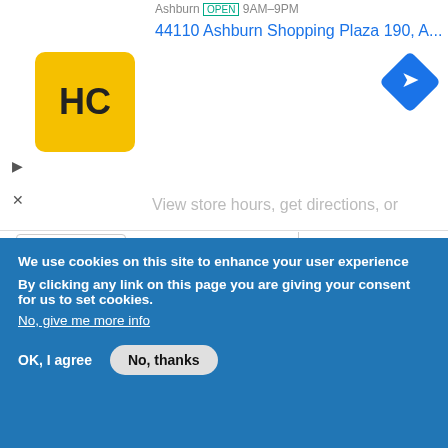[Figure (screenshot): Top banner advertisement showing HC logo, store address '44110 Ashburn Shopping Plaza 190, A...' with navigation diamond icon and partial text 'View store hours, get directions, or']
simply tell you that there is nothing "unnatural" about the place. It is merely an old house, used for meetings and parties. The upstairs is indeed locked, simply because it has not been remodeled as the lower floor has been. A funny fact is that a CPR Dummy has been propped up on a chair in front of a window on the second floor. Twisted humor I suppose. At any rate, you cannot rent the house I believe without a rather substantial insurance policy, thus the Mill will not incur
We use cookies on this site to enhance your user experience

By clicking any link on this page you are giving your consent for us to set cookies.
No, give me more info

OK, I agree    No, thanks